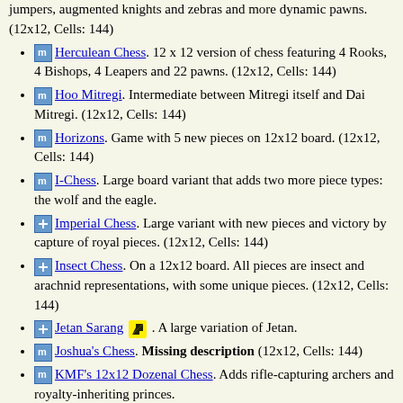jumpers, augmented knights and zebras and more dynamic pawns. (12x12, Cells: 144)
Herculean Chess. 12 x 12 version of chess featuring 4 Rooks, 4 Bishops, 4 Leapers and 22 pawns. (12x12, Cells: 144)
Hoo Mitregi. Intermediate between Mitregi itself and Dai Mitregi. (12x12, Cells: 144)
Horizons. Game with 5 new pieces on 12x12 board. (12x12, Cells: 144)
I-Chess. Large board variant that adds two more piece types: the wolf and the eagle.
Imperial Chess. Large variant with new pieces and victory by capture of royal pieces. (12x12, Cells: 144)
Insect Chess. On a 12x12 board. All pieces are insect and arachnid representations, with some unique pieces. (12x12, Cells: 144)
Jetan Sarang. A large variation of Jetan.
Joshua's Chess. Missing description (12x12, Cells: 144)
KMF's 12x12 Dozenal Chess. Adds rifle-capturing archers and royalty-inheriting princes.
Larger Wildeurasian variants. increasing the 2+2+1 piece groups from three to five or six. (12x12, Cells: 144)
Locusts. Simple chess variant with only two set of pieces